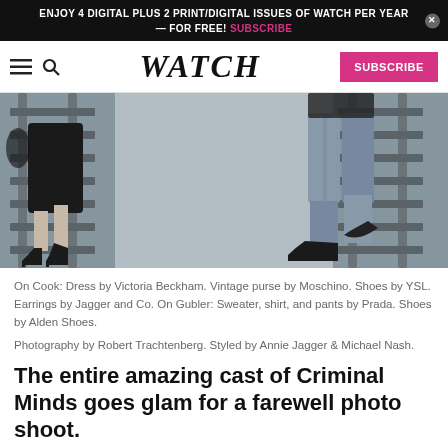ENJOY 4 DIGITAL PLUS 2 PRINT/DIGITAL ISSUES OF WATCH PER YEAR — FOR FREE! SUBSCRIBE
WATCH  SUBSCRIBE
[Figure (photo): Two people walking on railway tracks — a woman in a black dress with heels on the left and a man in jeans and dark shoes on the right, viewed from the waist down, black and white photo.]
On Cook: Dress by Victoria Beckham. Vintage purse by Moschino. Shoes by YSL. Earrings by Jagger and Co. On Gubler: Sweater, shirt, and pants by Prada. Shoes by Alden Shoes.
Photography by Robert Trachtenberg. Styled by Annie Jagger & Michael Nash.
The entire amazing cast of Criminal Minds goes glam for a farewell photo shoot.
And it's been a long run. Criminal Minds has been on the air for